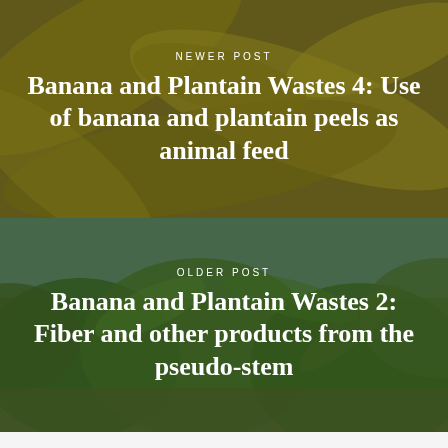[Figure (photo): Close-up photo of yellow banana peels/banana waste with olive-yellow tones, overlaid with dark semi-transparent layer]
NEWER POST
Banana and Plantain Wastes 4: Use of banana and plantain peels as animal feed
[Figure (photo): Photo of a banana/plantain plantation with green banana leaves and blue sky, overlaid with semi-transparent dark layer]
OLDER POST
Banana and Plantain Wastes 2: Fiber and other products from the pseudo-stem